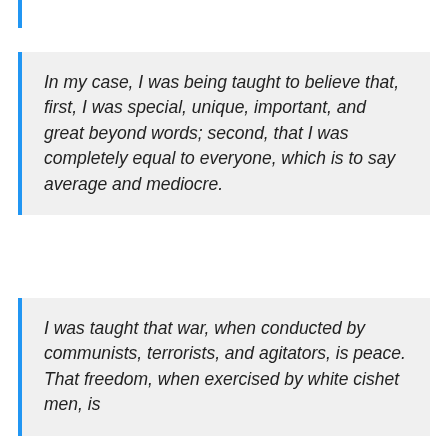In my case, I was being taught to believe that, first, I was special, unique, important, and great beyond words; second, that I was completely equal to everyone, which is to say average and mediocre.
I was taught that war, when conducted by communists, terrorists, and agitators, is peace. That freedom, when exercised by white cishet men, is